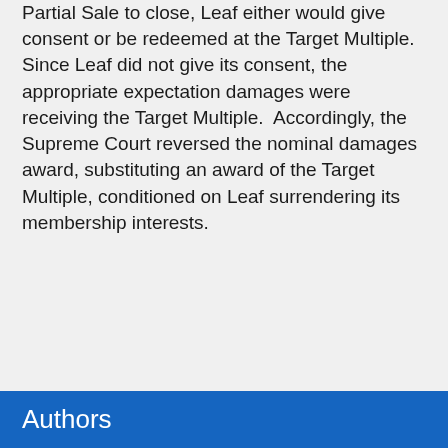Partial Sale to close, Leaf either would give consent or be redeemed at the Target Multiple.  Since Leaf did not give its consent, the appropriate expectation damages were receiving the Target Multiple.  Accordingly, the Supreme Court reversed the nominal damages award, substituting an award of the Target Multiple, conditioned on Leaf surrendering its membership interests.
SHARE +
Authors